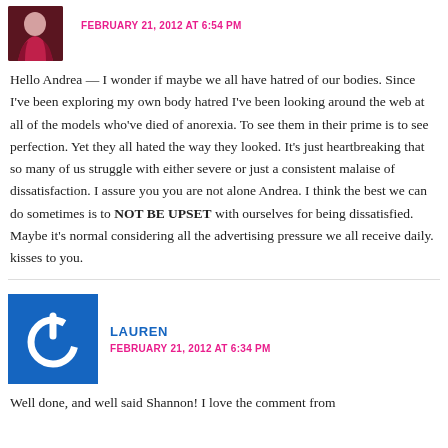FEBRUARY 21, 2012 AT 6:54 PM
Hello Andrea — I wonder if maybe we all have hatred of our bodies. Since I've been exploring my own body hatred I've been looking around the web at all of the models who've died of anorexia. To see them in their prime is to see perfection. Yet they all hated the way they looked. It's just heartbreaking that so many of us struggle with either severe or just a consistent malaise of dissatisfaction. I assure you you are not alone Andrea. I think the best we can do sometimes is to NOT BE UPSET with ourselves for being dissatisfied. Maybe it's normal considering all the advertising pressure we all receive daily. kisses to you.
LAUREN
FEBRUARY 21, 2012 AT 6:34 PM
Well done, and well said Shannon! I love the comment from